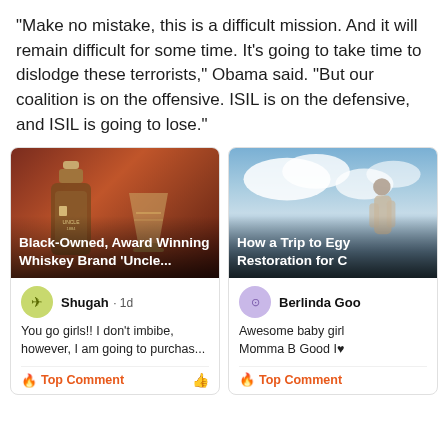“Make no mistake, this is a difficult mission. And it will remain difficult for some time. It’s going to take time to dislodge these terrorists,” Obama said. “But our coalition is on the offensive. ISIL is on the defensive, and ISIL is going to lose.”
[Figure (screenshot): Card with whiskey bottle and glass image, titled 'Black-Owned, Award Winning Whiskey Brand ‘Uncle...' with comment by Shugah 1d: 'You go girls!! I don’t imbibe, however, I am going to purchas...' and Top Comment label]
[Figure (screenshot): Card with image of woman and clouds, titled 'How a Trip to Egy Restoration for C' with comment by Berlinda Goo: 'Awesome baby girl Momma B Good I♥' and Top Comment label]